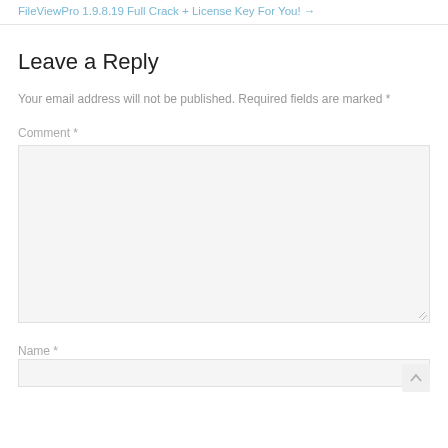FileViewPro 1.9.8.19 Full Crack + License Key For You! →
Leave a Reply
Your email address will not be published. Required fields are marked *
Comment *
Name *